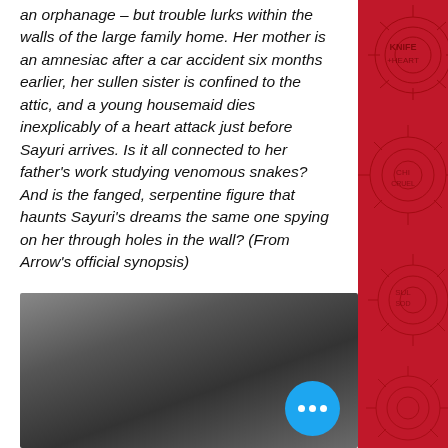an orphanage – but trouble lurks within the walls of the large family home. Her mother is an amnesiac after a car accident six months earlier, her sullen sister is confined to the attic, and a young housemaid dies inexplicably of a heart attack just before Sayuri arrives. Is it all connected to her father's work studying venomous snakes? And is the fanged, serpentine figure that haunts Sayuri's dreams the same one spying on her through holes in the wall? (From Arrow's official synopsis)
[Figure (photo): Dark blurry photographic image, mostly dark grays and blacks with lighter area in center-left. A blue circular button with three white dots is overlaid in the lower-right area of the image.]